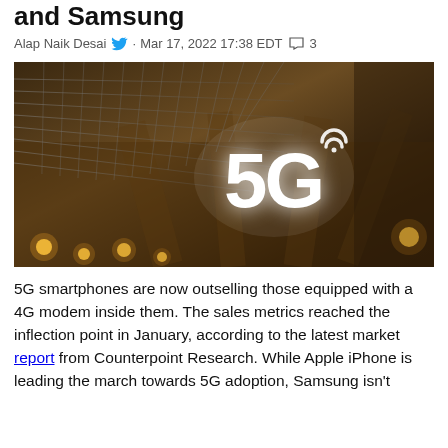and Samsung
Alap Naik Desai · Mar 17, 2022 17:38 EDT 💬 3
[Figure (photo): A 5G illuminated sign hanging from a ceiling with a metallic mesh grid and wooden structural beams in the background, with warm lights visible below.]
5G smartphones are now outselling those equipped with a 4G modem inside them. The sales metrics reached the inflection point in January, according to the latest market report from Counterpoint Research. While Apple iPhone is leading the march towards 5G adoption, Samsung isn't